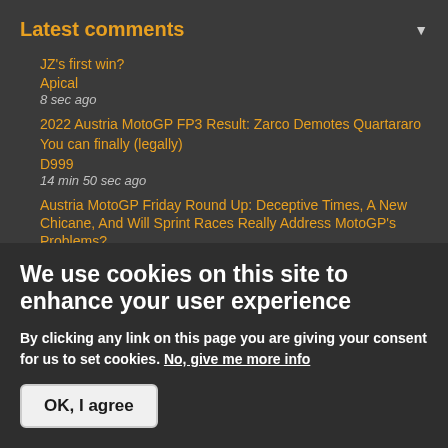Latest comments
JZ's first win?
Apical
8 sec ago
2022 Austria MotoGP FP3 Result: Zarco Demotes Quartararo
You can finally (legally)
D999
14 min 50 sec ago
Austria MotoGP Friday Round Up: Deceptive Times, A New Chicane, And Will Sprint Races Really Address MotoGP's Problems?
Eyes
We use cookies on this site to enhance your user experience
By clicking any link on this page you are giving your consent for us to set cookies. No, give me more info
OK, I agree